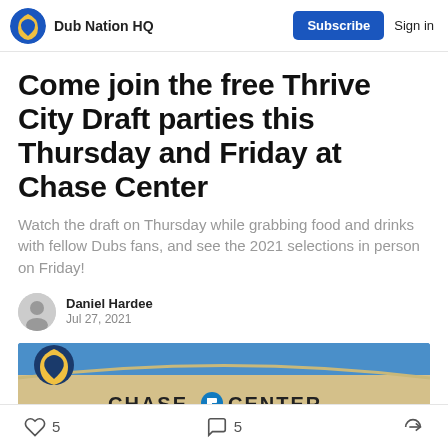Dub Nation HQ
Come join the free Thrive City Draft parties this Thursday and Friday at Chase Center
Watch the draft on Thursday while grabbing food and drinks with fellow Dubs fans, and see the 2021 selections in person on Friday!
Daniel Hardee
Jul 27, 2021
[Figure (photo): Photo of Chase Center exterior sign with the Chase logo and text 'CHASE CENTER']